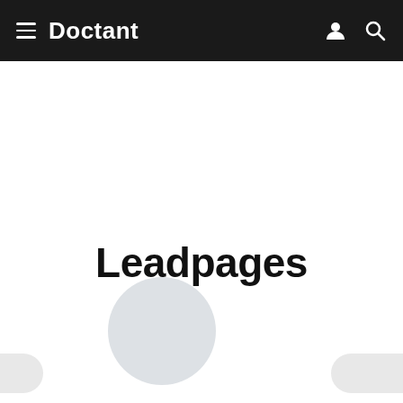Doctant
[Figure (logo): Gray circular placeholder logo for Leadpages]
Leadpages
Details  Pricing  Reviews 0  FAQ
English